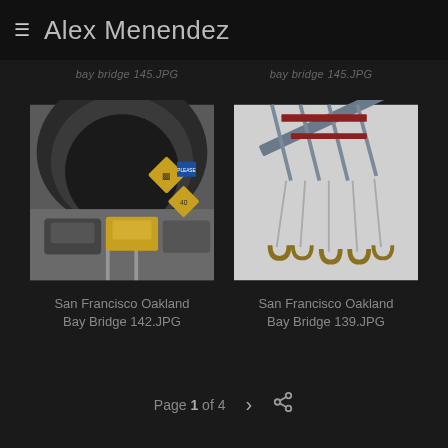≡ Alex Menendez
bay bridge 145.JPG
bay bridge 145.JPG
[Figure (photo): Cars driving toward a tunnel entrance with road signs including a pedestrian crossing sign and speed limit 40 sign, San Francisco Oakland Bay Bridge area]
[Figure (photo): Close-up view looking up at crane hooks and machinery against a light sky, San Francisco Oakland Bay Bridge construction equipment]
San Francisco Oakland Bay Bridge 142.JPG
San Francisco Oakland Bay Bridge 139.JPG
Page 1 of 4  >  share